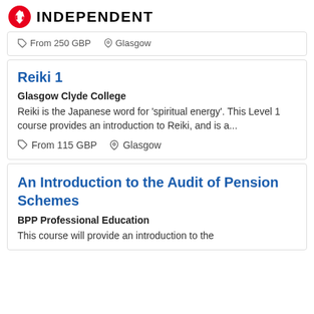INDEPENDENT
From 250 GBP   Glasgow
Reiki 1
Glasgow Clyde College
Reiki is the Japanese word for 'spiritual energy'. This Level 1 course provides an introduction to Reiki, and is a...
From 115 GBP   Glasgow
An Introduction to the Audit of Pension Schemes
BPP Professional Education
This course will provide an introduction to the